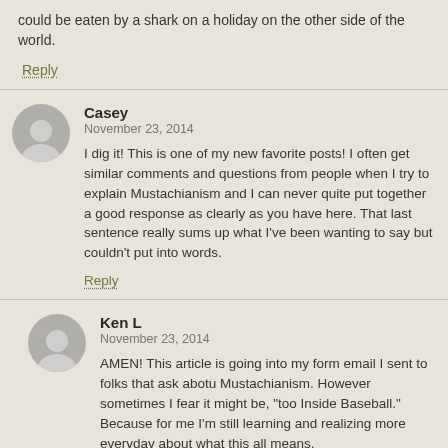could be eaten by a shark on a holiday on the other side of the world.
Reply
Casey
November 23, 2014
I dig it! This is one of my new favorite posts! I often get similar comments and questions from people when I try to explain Mustachianism and I can never quite put together a good response as clearly as you have here. That last sentence really sums up what I've been wanting to say but couldn't put into words.
Reply
Ken L
November 23, 2014
AMEN! This article is going into my form email I sent to folks that ask abotu Mustachianism. However sometimes I fear it might be, "too Inside Baseball." Because for me I'm still learning and realizing more everyday about what this all means.